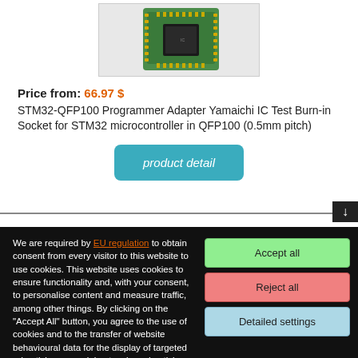[Figure (photo): Product photo of STM32-QFP100 Programmer Adapter with green PCB board]
Price from: 66.97 $
STM32-QFP100 Programmer Adapter Yamaichi IC Test Burn-in Socket for STM32 microcontroller in QFP100 (0.5mm pitch)
product detail
We are required by EU regulation to obtain consent from every visitor to this website to use cookies. This website uses cookies to ensure functionality and, with your consent, to personalise content and measure traffic, among other things. By clicking on the "Accept All" button, you agree to the use of cookies and to the transfer of website behavioural data for the display of targeted advertising on social networks, advertising networks on other sites.
Accept all
Reject all
Detailed settings